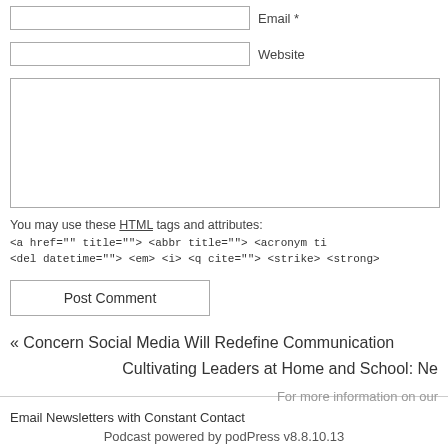Email *
Website
You may use these HTML tags and attributes: <a href="" title=""> <abbr title=""> <acronym ti <del datetime=""> <em> <i> <q cite=""> <strike> <strong>
Post Comment
« Concern Social Media Will Redefine Communication
Cultivating Leaders at Home and School: Ne
For more information on our
Email Newsletters with Constant Contact
Podcast powered by podPress v8.8.10.13